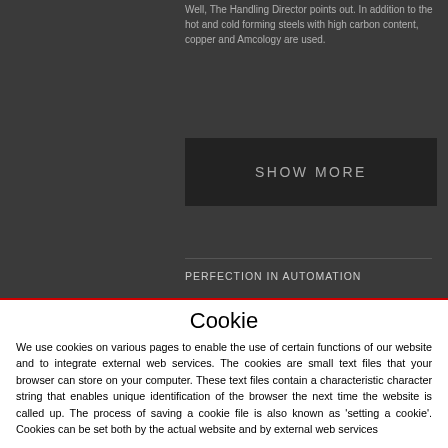Well, the Handling Director points out. In addition to the hot and cold forming steels with high carbon content, copper and Amcology are used.
SHOW MORE
PERFECTION IN AUTOMATION
21.07.2020
NEW HANDLING SYSTEM HS FLEX HEAVY
Cookie
We use cookies on various pages to enable the use of certain functions of our website and to integrate external web services. The cookies are small text files that your browser can store on your computer. These text files contain a characteristic character string that enables unique identification of the browser the next time the website is called up. The process of saving a cookie file is also known as 'setting a cookie'. Cookies can be set both by the actual website and by external web services